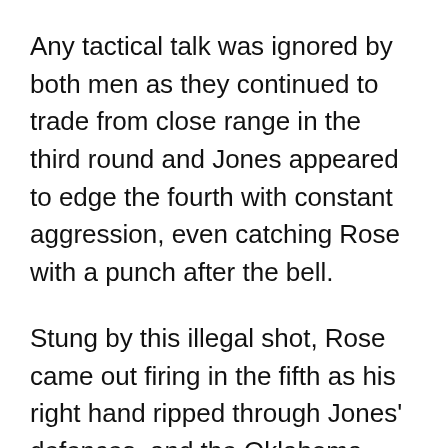Any tactical talk was ignored by both men as they continued to trade from close range in the third round and Jones appeared to edge the fourth with constant aggression, even catching Rose with a punch after the bell.
Stung by this illegal shot, Rose came out firing in the fifth as his right hand ripped through Jones' defences, and the Oklahoma man ate a steady stream of rights in the sixth.
Gradually, the fiery threat of Jones was being diminished by Rose's spearing jab, an accurate weapon, and his march forward became increasingly ponderous.